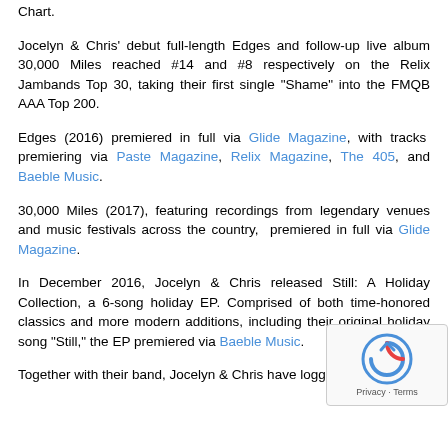Chart.
Jocelyn & Chris' debut full-length Edges and follow-up live album 30,000 Miles reached #14 and #8 respectively on the Relix Jambands Top 30, taking their first single "Shame" into the FMQB AAA Top 200.
Edges (2016) premiered in full via Glide Magazine, with tracks premiering via Paste Magazine, Relix Magazine, The 405, and Baeble Music.
30,000 Miles (2017), featuring recordings from legendary venues and music festivals across the country, premiered in full via Glide Magazine.
In December 2016, Jocelyn & Chris released Still: A Holiday Collection, a 6-song holiday EP. Comprised of both time-honored classics and more modern additions, including their original holiday song "Still," the EP premiered via Baeble Music.
Together with their band, Jocelyn & Chris have logged